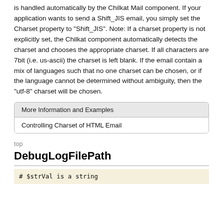is handled automatically by the Chilkat Mail component. If your application wants to send a Shift_JIS email, you simply set the Charset property to "Shift_JIS". Note: If a charset property is not explicitly set, the Chilkat component automatically detects the charset and chooses the appropriate charset. If all characters are 7bit (i.e. us-ascii) the charset is left blank. If the email contain a mix of languages such that no one charset can be chosen, or if the language cannot be determined without ambiguity, then the "utf-8" charset will be chosen.
More Information and Examples
Controlling Charset of HTML Email
top
DebugLogFilePath
# $strVal is a string